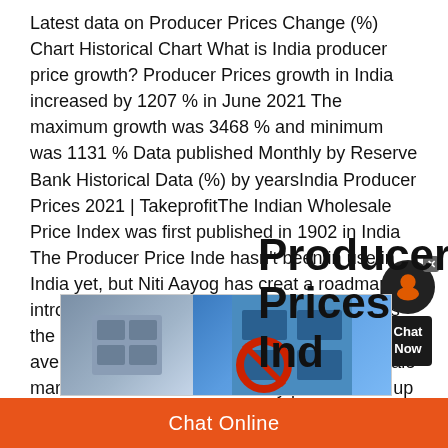Latest data on Producer Prices Change (%) Chart Historical Chart What is India producer price growth? Producer Prices growth in India increased by 1207 % in June 2021 The maximum growth was 3468 % and minimum was 1131 % Data published Monthly by Reserve Bank Historical Data (%) by yearsIndia Producer Prices 2021 | TakeprofitThe Indian Wholesale Price Index was first published in 1902 in India The Producer Price Index hasn't been in use in India yet, but Niti Aayog has created a roadmap to introduce it soon The Wholesale Price Index is the index used to measure the changes in the average price level of goods traded in wholesale market A total of 697 commodity prices make up the indexProducer Price Index (India) Wikipedia
[Figure (photo): Photo of what appears to be a store or market with a red prohibition circle sign overlaid]
Producer Prices Ind...
Chat Online